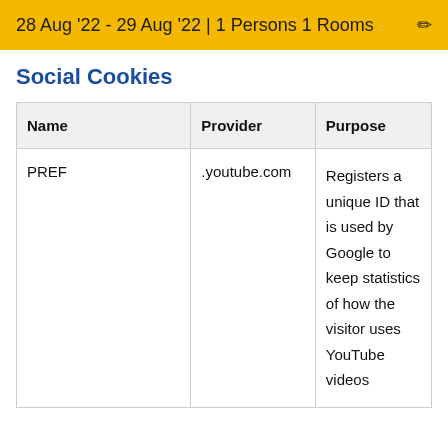28 Aug '22 - 29 Aug '22 | 1 Persons 1 Rooms
Social Cookies
| Name | Provider | Purpose |
| --- | --- | --- |
| PREF | .youtube.com | Registers a unique ID that is used by Google to keep statistics of how the visitor uses YouTube videos |